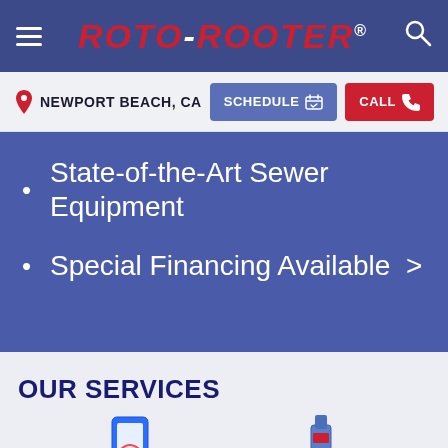ROTO-ROOTER
NEWPORT BEACH, CA
SCHEDULE
CALL
State-of-the-Art Sewer Equipment
Special Financing Available
OUR SERVICES